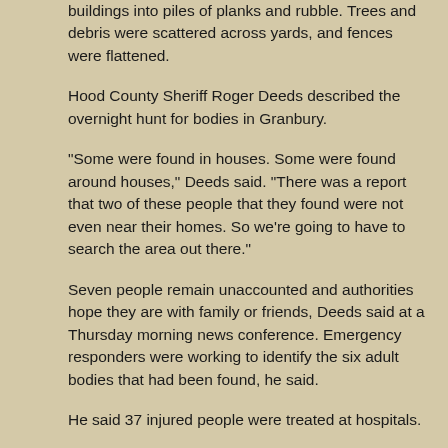buildings into piles of planks and rubble. Trees and debris were scattered across yards, and fences were flattened.
Hood County Sheriff Roger Deeds described the overnight hunt for bodies in Granbury.
"Some were found in houses. Some were found around houses," Deeds said. "There was a report that two of these people that they found were not even near their homes. So we're going to have to search the area out there."
Seven people remain unaccounted and authorities hope they are with family or friends, Deeds said at a Thursday morning news conference. Emergency responders were working to identify the six adult bodies that had been found, he said.
He said 37 injured people were treated at hospitals.
One of the neighborhoods, Rancho Brazos, had a significant number of Habitat for Humanity homes that were damaged.
Harold Brooks, a meteorologist at the NWS' severe storm lab in Norman, Okla., said May 15 is the latest